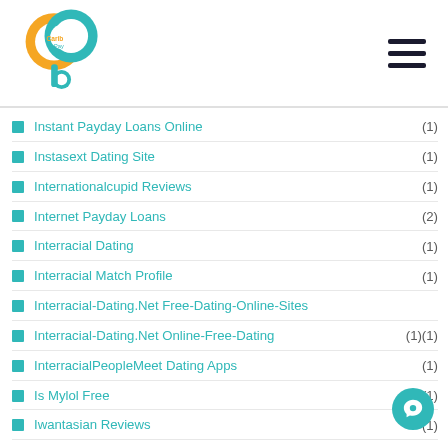Carib Pay App
Instant Payday Loans Online (1)
Instasext Dating Site (1)
Internationalcupid Reviews (1)
Internet Payday Loans (2)
Interracial Dating (1)
Interracial Match Profile (1)
Interracial-Dating.Net Free-Dating-Online-Sites
Interracial-Dating.Net Online-Free-Dating (1)(1)
InterracialPeopleMeet Dating Apps (1)
Is Mylol Free (1)
Iwantasian Reviews (1)